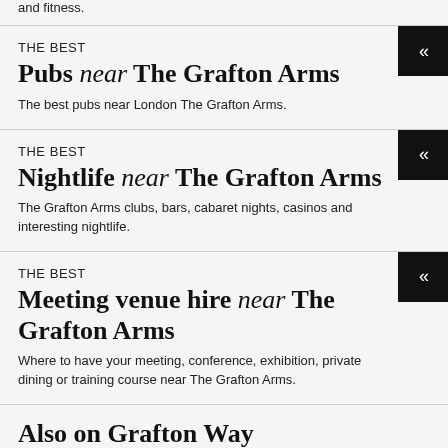and fitness.
THE BEST
Pubs near The Grafton Arms
The best pubs near London The Grafton Arms.
THE BEST
Nightlife near The Grafton Arms
The Grafton Arms clubs, bars, cabaret nights, casinos and interesting nightlife.
THE BEST
Meeting venue hire near The Grafton Arms
Where to have your meeting, conference, exhibition, private dining or training course near The Grafton Arms.
Also on Grafton Way